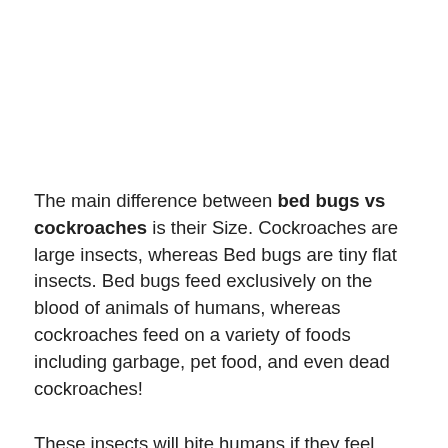The main difference between bed bugs vs cockroaches is their Size. Cockroaches are large insects, whereas Bed bugs are tiny flat insects. Bed bugs feed exclusively on the blood of animals of humans, whereas cockroaches feed on a variety of foods including garbage, pet food, and even dead cockroaches!
These insects will bite humans if they feel threatened or if there is a lack of food for them to eat.
Cockroaches are one of the most common household pests. There are more than 3,500 different species of cockroaches